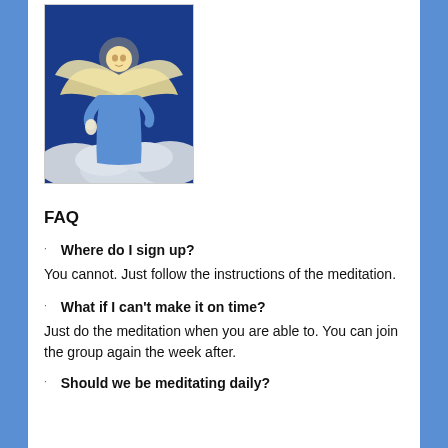[Figure (illustration): Painting of an angel in a blue robe with large wings, holding a flame, floating above clouds against a dark blue sky background]
FAQ
Where do I sign up?
You cannot. Just follow the instructions of the meditation.
What if I can't make it on time?
Just do the meditation when you are able to. You can join the group again the week after.
Should we be meditating daily?